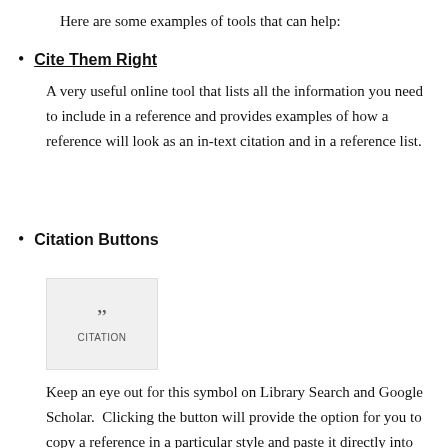Here are some examples of tools that can help:
Cite Them Right
A very useful online tool that lists all the information you need to include in a reference and provides examples of how a reference will look as an in-text citation and in a reference list.
Citation Buttons
[Figure (illustration): A grey box showing a quotation mark icon above the word CITATION, representing a citation button found on Library Search and Google Scholar.]
Keep an eye out for this symbol on Library Search and Google Scholar.  Clicking the button will provide the option for you to copy a reference in a particular style and paste it directly into your reference list.  You might need